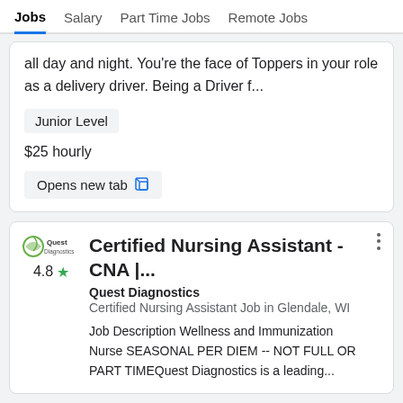Jobs  Salary  Part Time Jobs  Remote Jobs
all day and night. You're the face of Toppers in your role as a delivery driver. Being a Driver f...
Junior Level
$25 hourly
Opens new tab
Certified Nursing Assistant - CNA |...
Quest Diagnostics
Certified Nursing Assistant Job in Glendale, WI
Job Description Wellness and Immunization Nurse SEASONAL PER DIEM -- NOT FULL OR PART TIMEQuest Diagnostics is a leading...